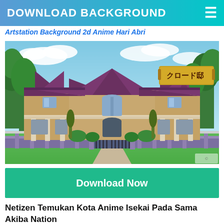DOWNLOAD BACKGROUND
Artstation Background 2d Anime Hari Abri
[Figure (illustration): Anime-style illustration of a large two-story Victorian/European-style mansion with purple roofs, stone facade, iron gate, purple-stone fence, green lawn, blue sky with clouds and trees. A golden banner in top-right corner reads クロード邸.]
Download Now
Netizen Temukan Kota Anime Isekai Pada Sama Akiba Nation